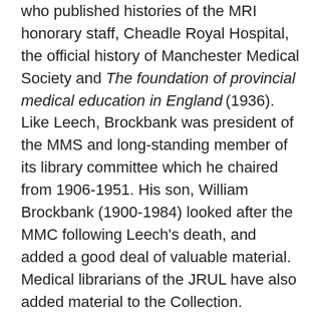who published histories of the MRI honorary staff, Cheadle Royal Hospital, the official history of Manchester Medical Society and The foundation of provincial medical education in England (1936). Like Leech, Brockbank was president of the MMS and long-standing member of its library committee which he chaired from 1906-1951. His son, William Brockbank (1900-1984) looked after the MMC following Leech's death, and added a good deal of valuable material. Medical librarians of the JRUL have also added material to the Collection.
When the Collection was catalogued between 2002 and 2004, a decision was made to restrict the acquisition of new material. In some areas such as the biographical files, it is considered desirable to continue updating this material as it is a unique and valuable